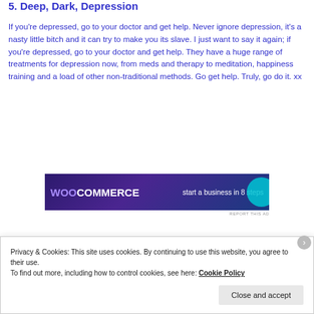5. Deep, Dark, Depression
If you're depressed, go to your doctor and get help. Never ignore depression, it's a nasty little bitch and it can try to make you its slave. I just want to say it again; if you're depressed, go to your doctor and get help. They have a huge range of treatments for depression now, from meds and therapy to meditation, happiness training and a load of other non-traditional methods. Go get help. Truly, go do it. xx
[Figure (other): WooCommerce advertisement banner: 'start a business in 8 steps']
Privacy & Cookies: This site uses cookies. By continuing to use this website, you agree to their use.
To find out more, including how to control cookies, see here: Cookie Policy